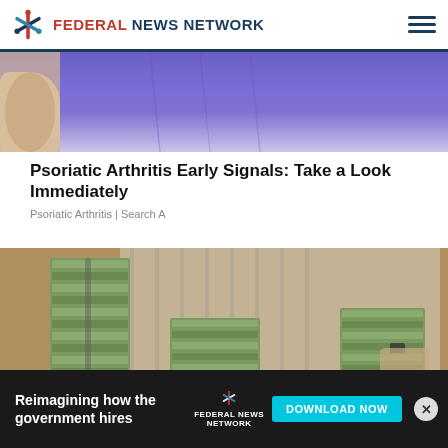FEDERAL NEWS NETWORK
[Figure (photo): Partial view of person wearing purple/blue tight clothing, with hand visible at lower left]
Psoriatic Arthritis Early Signals: Take a Look Immediately
Psoriatic Arthritis | Search A
[Figure (photo): Person in grey striped shirt handling large stacks of bundled US dollar bills on a table]
Reimagining how the government hires
[Figure (logo): Federal News Network logo with text: FEDERAL NEWS NETWORK and spinning star icon]
DOWNLOAD NOW